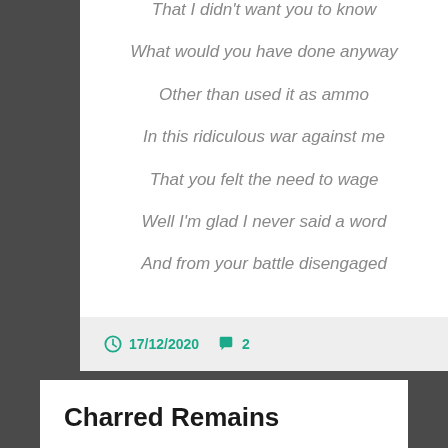That I didn't want you to know
What would you have done anyway
Other than used it as ammo
In this ridiculous war against me
That you felt the need to wage
Well I'm glad I never said a word
And from your battle disengaged
17/12/2020   2
Charred Remains